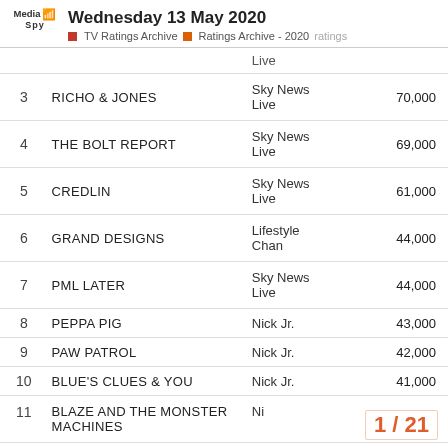Wednesday 13 May 2020 | TV Ratings Archive | Ratings Archive - 2020 | ratings
| # | Show | Channel | Viewers |
| --- | --- | --- | --- |
|  | Live |  |  |
| 3 | RICHO & JONES | Sky News Live | 70,000 |
| 4 | THE BOLT REPORT | Sky News Live | 69,000 |
| 5 | CREDLIN | Sky News Live | 61,000 |
| 6 | GRAND DESIGNS | Lifestyle Chan | 44,000 |
| 7 | PML LATER | Sky News Live | 44,000 |
| 8 | PEPPA PIG | Nick Jr. | 43,000 |
| 9 | PAW PATROL | Nick Jr. | 42,000 |
| 10 | BLUE'S CLUES & YOU | Nick Jr. | 41,000 |
| 11 | BLAZE AND THE MONSTER MACHINES | Ni... |  |
1 / 21